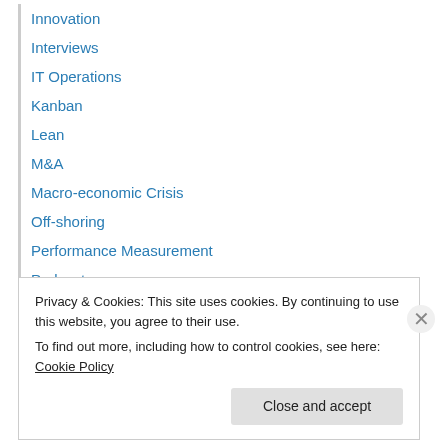Innovation
Interviews
IT Operations
Kanban
Lean
M&A
Macro-economic Crisis
Off-shoring
Performance Measurement
Podcast
Podcasts
Q&A
Refactoring
Privacy & Cookies: This site uses cookies. By continuing to use this website, you agree to their use.
To find out more, including how to control cookies, see here: Cookie Policy
Close and accept